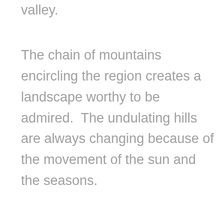valley.
The chain of mountains encircling the region creates a landscape worthy to be admired.  The undulating hills are always changing because of the movement of the sun and the seasons.